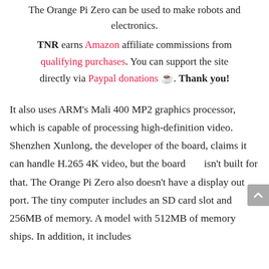The Orange Pi Zero can be used to make robots and electronics.
TNR earns Amazon affiliate commissions from qualifying purchases. You can support the site directly via Paypal donations 🍵. Thank you!
It also uses ARM's Mali 400 MP2 graphics processor, which is capable of processing high-definition video. Shenzhen Xunlong, the developer of the board, claims it can handle H.265 4K video, but the board isn't built for that. The Orange Pi Zero also doesn't have a display out port. The tiny computer includes an SD card slot and 256MB of memory. A model with 512MB of memory ships. In addition, it includes